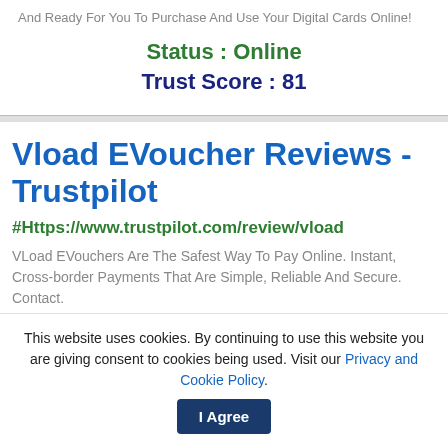And Ready For You To Purchase And Use Your Digital Cards Online!
Status : Online
Trust Score : 81
Vload EVoucher Reviews - Trustpilot
#Https://www.trustpilot.com/review/vload
VLoad EVouchers Are The Safest Way To Pay Online. Instant, Cross-border Payments That Are Simple, Reliable And Secure. Contact.
This website uses cookies. By continuing to use this website you are giving consent to cookies being used. Visit our Privacy and Cookie Policy.